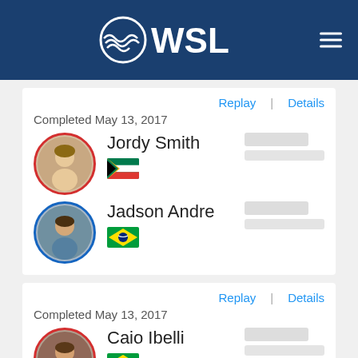WSL
Replay | Details
Completed May 13, 2017
Jordy Smith
Jadson Andre
Replay | Details
Completed May 13, 2017
Caio Ibelli
Adrian Buchan